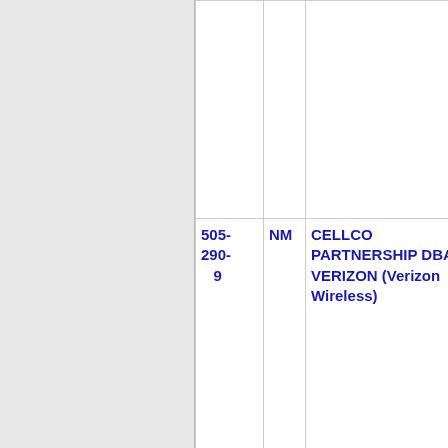| Phone | State | Company Name | Number |
| --- | --- | --- | --- |
|  |  |  |  |
| 505-290-9 | NM | CELLCO PARTNERSHIP DBA VERIZON (Verizon Wireless) | 6573 |
| 505-356 | NM | NEW CINGULAR WIRELESS PCS, LLC (AT&T Wireless) | 6010 |